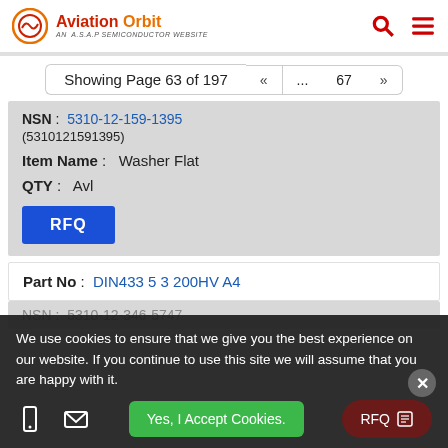Aviation Orbit - AN A.S.A.P SEMICONDUCTOR WEBSITE
Showing Page 63 of 197 « ... 67 »
NSN: 5310-12-159-1395 (5310121591395)
Item Name: Washer Flat
QTY: Avl
RFQ
Part No: DIN433 5 3 200HV A4
NSN: 5310-12-346-5747 (partially visible)
We use cookies to ensure that we give you the best experience on our website. If you continue to use this site we will assume that you are happy with it.
Yes, I Accept Cookies.
RFQ